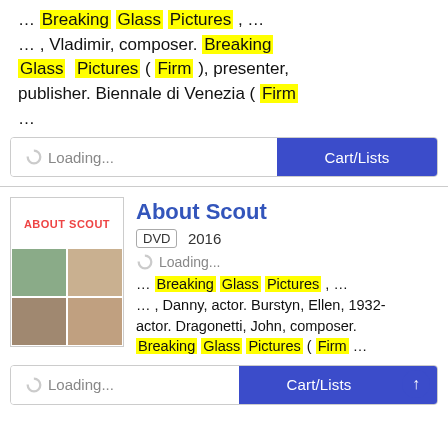… Breaking Glass Pictures , … … , Vladimir, composer. Breaking Glass Pictures ( Firm ), presenter, publisher. Biennale di Venezia ( Firm …
[Figure (screenshot): Loading... button and Cart/Lists button bar]
[Figure (photo): About Scout DVD cover art showing movie poster collage]
About Scout
DVD  2016
Loading...
… Breaking Glass Pictures , … … , Danny, actor. Burstyn, Ellen, 1932- actor. Dragonetti, John, composer. Breaking Glass Pictures ( Firm …
[Figure (screenshot): Loading... button and Cart/Lists button bar with up arrow]